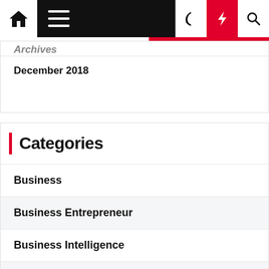Navigation bar with home, menu, moon, bolt, search icons
December 2018
Categories
Business
Business Entrepreneur
Business Intelligence
Finance
General Article
Insurance